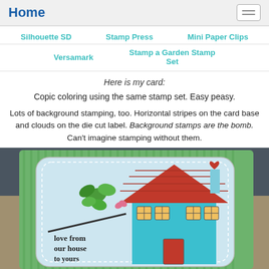Home
Silhouette SD   Stamp Press   Mini Paper Clips
Versamark   Stamp a Garden Stamp Set
Here is my card:
Copic coloring using the same stamp set. Easy peasy.
Lots of background stamping, too. Horizontal stripes on the card base and clouds on the die cut label. Background stamps are the bomb. Can't imagine stamping without them.
[Figure (photo): Photo of a handmade stamped card featuring a house with a red roof, teal walls, green striped background, a die-cut label with clouds and a tree branch, and text reading 'love from our house']